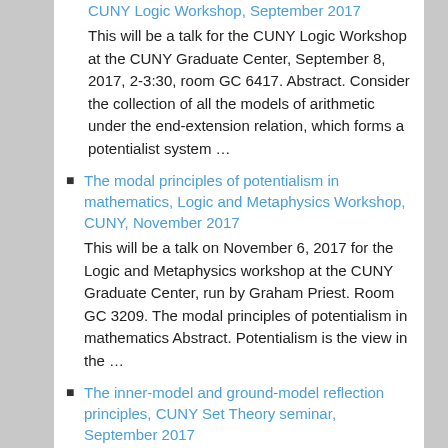CUNY Logic Workshop, September 2017
This will be a talk for the CUNY Logic Workshop at the CUNY Graduate Center, September 8, 2017, 2-3:30, room GC 6417. Abstract. Consider the collection of all the models of arithmetic under the end-extension relation, which forms a potentialist system …
The modal principles of potentialism in mathematics, Logic and Metaphysics Workshop, CUNY, November 2017
This will be a talk on November 6, 2017 for the Logic and Metaphysics workshop at the CUNY Graduate Center, run by Graham Priest. Room GC 3209. The modal principles of potentialism in mathematics Abstract. Potentialism is the view in the …
The inner-model and ground-model reflection principles, CUNY Set Theory seminar, September 2017
This will be a talk for the CUNY Set Theory seminar on September 1, 2017, 10 am, GC 6417